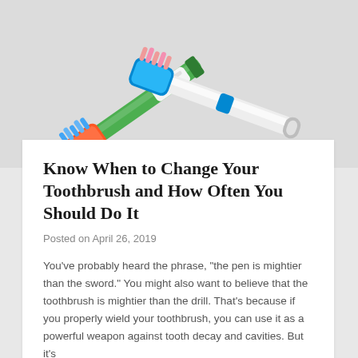[Figure (photo): Two toothbrushes — one green/orange and one blue/pink — crossing each other on a light gray background]
Know When to Change Your Toothbrush and How Often You Should Do It
Posted on April 26, 2019
You've probably heard the phrase, “the pen is mightier than the sword.” You might also want to believe that the toothbrush is mightier than the drill. That’s because if you properly wield your toothbrush, you can use it as a powerful weapon against tooth decay and cavities. But it’s